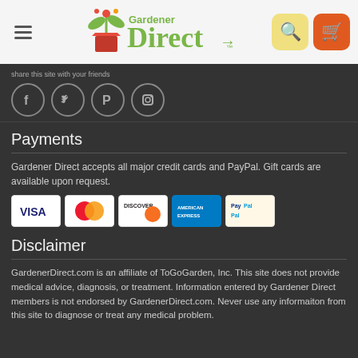[Figure (logo): Gardener Direct logo with plant icon, green text]
[Figure (screenshot): Social media icons: Facebook, Twitter, Pinterest, Instagram in circular outlines]
Payments
Gardener Direct accepts all major credit cards and PayPal. Gift cards are available upon request.
[Figure (screenshot): Payment logos: VISA, MasterCard, Discover, American Express, PayPal]
Disclaimer
GardenerDirect.com is an affiliate of ToGoGarden, Inc. This site does not provide medical advice, diagnosis, or treatment. Information entered by Gardener Direct members is not endorsed by GardenerDirect.com. Never use any informaiton from this site to diagnose or treat any medical problem.